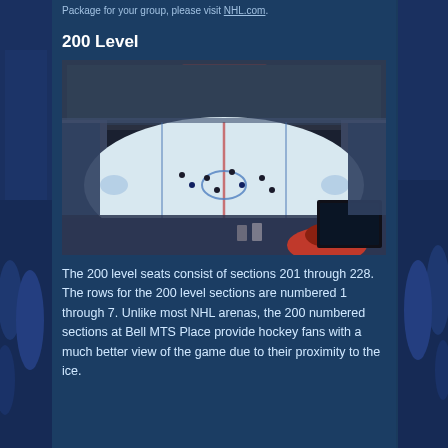Package for your group, please visit NHL.com.
200 Level
[Figure (photo): Overhead view of a hockey arena (Bell MTS Place) from the 200 level seats, showing the ice rink with players, surrounding crowd, scoreboard, and arena lighting. Foreground shows fans in lower right corner.]
The 200 level seats consist of sections 201 through 228. The rows for the 200 level sections are numbered 1 through 7. Unlike most NHL arenas, the 200 numbered sections at Bell MTS Place provide hockey fans with a much better view of the game due to their proximity to the ice.